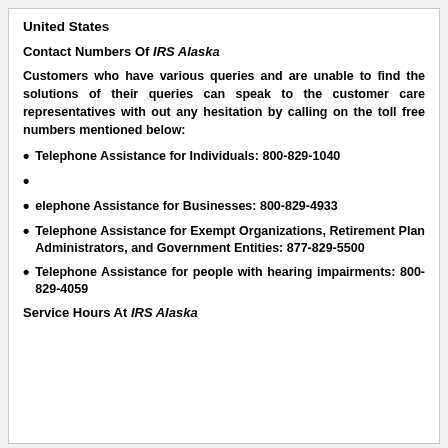United States
Contact Numbers Of IRS Alaska
Customers who have various queries and are unable to find the solutions of their queries can speak to the customer care representatives with out any hesitation by calling on the toll free numbers mentioned below:
Telephone Assistance for Individuals: 800-829-1040
elephone Assistance for Businesses: 800-829-4933
Telephone Assistance for Exempt Organizations, Retirement Plan Administrators, and Government Entities: 877-829-5500
Telephone Assistance for people with hearing impairments: 800-829-4059
Service Hours At IRS Alaska